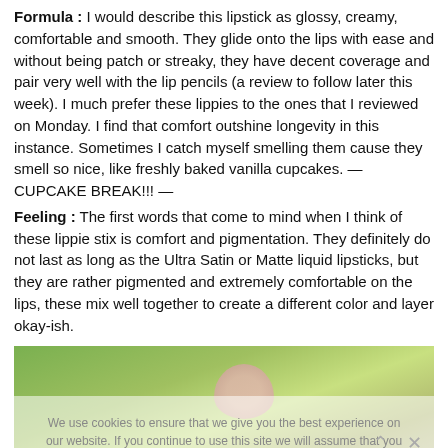Formula : I would describe this lipstick as glossy, creamy, comfortable and smooth. They glide onto the lips with ease and without being patch or streaky, they have decent coverage and pair very well with the lip pencils (a review to follow later this week). I much prefer these lippies to the ones that I reviewed on Monday. I find that comfort outshine longevity in this instance. Sometimes I catch myself smelling them cause they smell so nice, like freshly baked vanilla cupcakes. — CUPCAKE BREAK!!! —
Feeling : The first words that come to mind when I think of these lippie stix is comfort and pigmentation. They definitely do not last as long as the Ultra Satin or Matte liquid lipsticks, but they are rather pigmented and extremely comfortable on the lips, these mix well together to create a different color and layer okay-ish.
[Figure (photo): Photo showing green plant leaves/succulents with a pink lip color swatch on a hand in the foreground, partially obscured by a cookie consent overlay banner.]